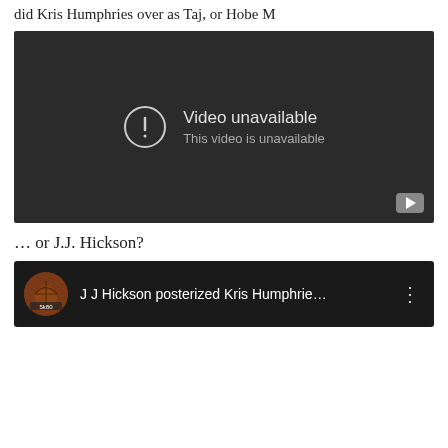did Kris Humphries over as Taj, or Hobe M
[Figure (screenshot): Embedded YouTube video player showing 'Video unavailable — This video is unavailable' message on a dark background, with a YouTube logo button in the bottom right corner.]
… or J.J. Hickson?
[Figure (screenshot): YouTube video thumbnail row showing a basketball channel icon and the title 'J J Hickson posterized Kris Humphrie…' with a three-dot menu icon on the right.]